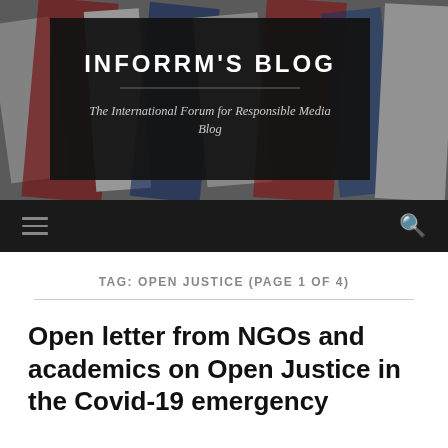[Figure (screenshot): Website header for INFORRM'S BLOG — The International Forum for Responsible Media Blog. Dark overlay box on newspaper background with blog name and subtitle. Below is a dark navigation bar with hamburger menu icon and search icon.]
TAG: OPEN JUSTICE (PAGE 1 OF 4)
Open letter from NGOs and academics on Open Justice in the Covid-19 emergency